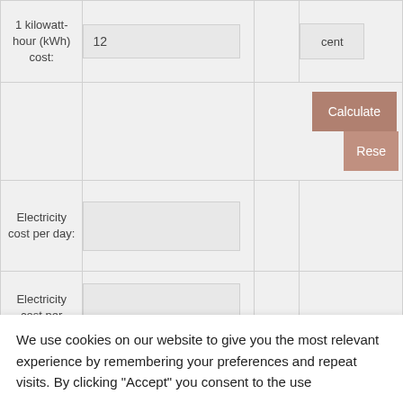| Label | Input | Extra | Unit |
| --- | --- | --- | --- |
| 1 kilowatt-hour (kWh) cost: | 12 |  | cent |
|  | Calculate | Reset |  |  |
| Electricity cost per day: |  |  |  |
| Electricity cost per |  |  |  |
We use cookies on our website to give you the most relevant experience by remembering your preferences and repeat visits. By clicking "Accept" you consent to the use